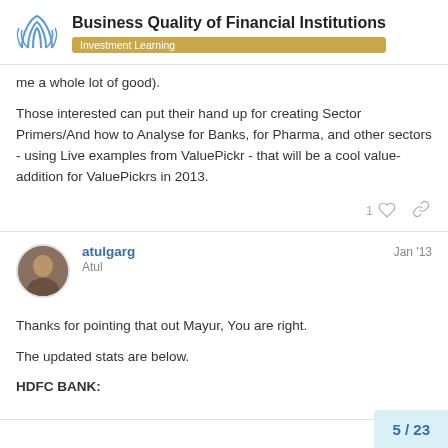Business Quality of Financial Institutions — Investment Learning
me a whole lot of good).
Those interested can put their hand up for creating Sector Primers/And how to Analyse for Banks, for Pharma, and other sectors - using Live examples from ValuePickr - that will be a cool value-addition for ValuePickrs in 2013.
atulgarg  Jan '13
Atul
Thanks for pointing that out Mayur, You are right.
The updated stats are below.
HDFC BANK:
5 / 23